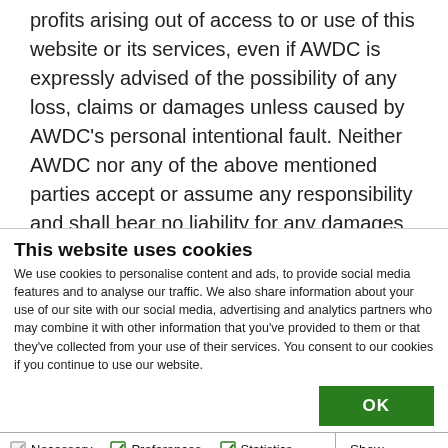profits arising out of access to or use of this website or its services, even if AWDC is expressly advised of the possibility of any loss, claims or damages unless caused by AWDC's personal intentional fault. Neither AWDC nor any of the above mentioned parties accept or assume any responsibility and shall bear no liability for any damages to or viruses that may infect your
This website uses cookies
We use cookies to personalise content and ads, to provide social media features and to analyse our traffic. We also share information about your use of our site with our social media, advertising and analytics partners who may combine it with other information that you've provided to them or that they've collected from your use of their services. You consent to our cookies if you continue to use our website.
OK
Necessary  Preferences  Statistics  Marketing  Show details